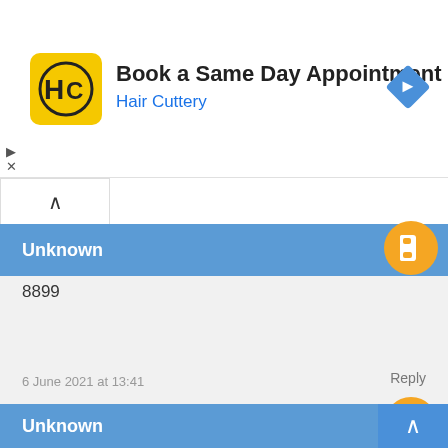[Figure (screenshot): Ad banner for Hair Cuttery: yellow logo with HC initials, text 'Book a Same Day Appointment' and 'Hair Cuttery' in blue, blue diamond navigation icon on right]
Book a Same Day Appointment
Hair Cuttery
Unknown
8899
6 June 2021 at 13:41
Reply
Unknown